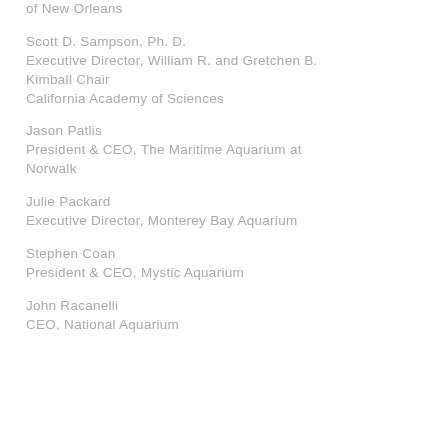of New Orleans
Scott D. Sampson, Ph. D.
Executive Director, William R. and Gretchen B. Kimball Chair
California Academy of Sciences
Jason Patlis
President & CEO, The Maritime Aquarium at Norwalk
Julie Packard
Executive Director, Monterey Bay Aquarium
Stephen Coan
President & CEO, Mystic Aquarium
John Racanelli
CEO, National Aquarium